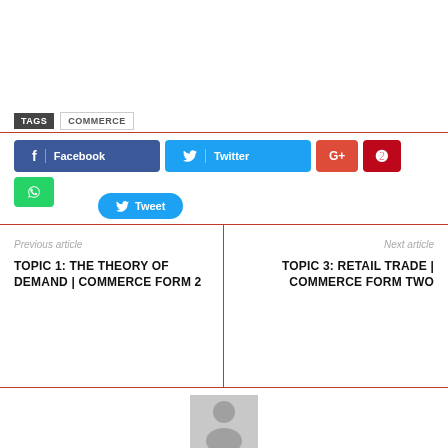TAGS   COMMERCE
[Figure (infographic): Social share buttons: Facebook, Twitter, Google+, Pinterest, WhatsApp, and a Tweet button]
Previous article
TOPIC 1: THE THEORY OF DEMAND | COMMERCE FORM 2
Next article
TOPIC 3: RETAIL TRADE | COMMERCE FORM TWO
[Figure (photo): Generic user avatar placeholder image (grey silhouette of a person)]